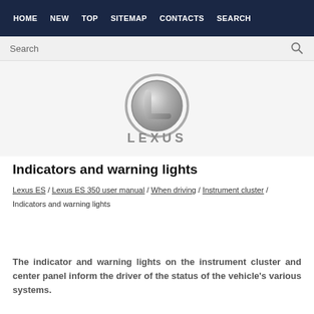HOME  NEW  TOP  SITEMAP  CONTACTS  SEARCH
Search
[Figure (logo): Lexus logo — stylized L emblem above LEXUS wordmark in silver/chrome]
Indicators and warning lights
Lexus ES / Lexus ES 350 user manual / When driving / Instrument cluster / Indicators and warning lights
The indicator and warning lights on the instrument cluster and center panel inform the driver of the status of the vehicle's various systems.